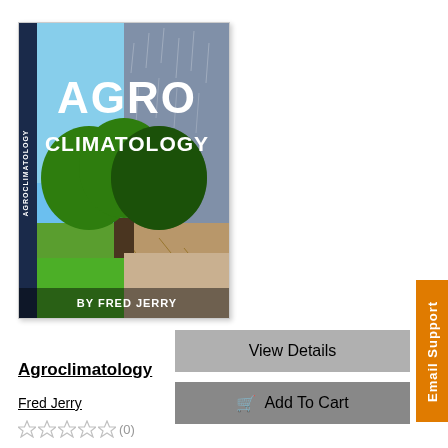[Figure (illustration): Book cover of Agroclimatology by Fred Jerry. Split design showing left half with green tree on lush grass under blue sky, right half showing the same tree on cracked dry earth with rain. Large white bold text reads AGRO CLIMATOLOGY. Author name BY FRED JERRY at bottom.]
View Details
Add To Cart
Agroclimatology
Fred Jerry
(0)